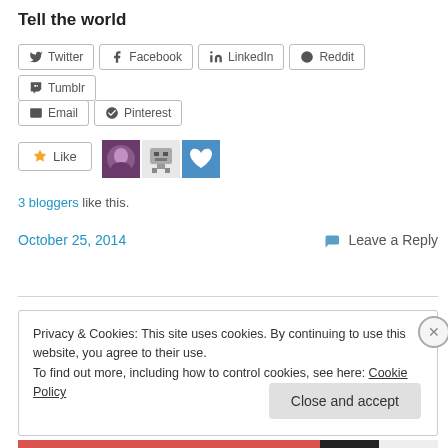Tell the world
Twitter Facebook LinkedIn Reddit Tumblr Email Pinterest (share buttons)
[Figure (other): Like button with three blogger avatar images]
3 bloggers like this.
October 25, 2014    Leave a Reply
Privacy & Cookies: This site uses cookies. By continuing to use this website, you agree to their use. To find out more, including how to control cookies, see here: Cookie Policy
Close and accept